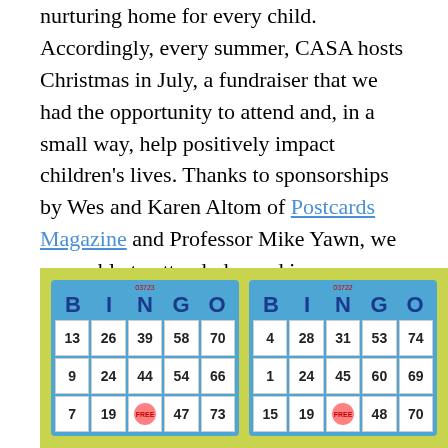nurturing home for every child. Accordingly, every summer, CASA hosts Christmas in July, a fundraiser that we had the opportunity to attend and, in a small way, help positively impact children's lives. Thanks to sponsorships by Wes and Karen Altom of Postcards Magazine and Professor Mike Yawn, we were able to attend–dressed in our Christmas and luau attire, we got ready to play (and hopefully win) bingo!
[Figure (photo): Two bingo cards on a yellow-green table. Left card shows numbers: B:13,9,7 I:26,24,19 N:39,44,FREE G:58,54,47 O:70,66,73. Right card shows numbers: B:4,1,15 I:28,24,19 N:31,45,FREE G:53,60,48 O:74,69,70.]